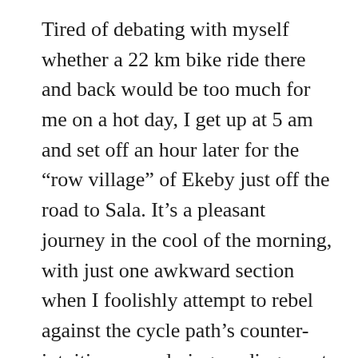Tired of debating with myself whether a 22 km bike ride there and back would be too much for me on a hot day, I get up at 5 am and set off an hour later for the “row village” of Ekeby just off the road to Sala. It’s a pleasant journey in the cool of the morning, with just one awkward section when I foolishly attempt to rebel against the cycle path’s counter-intuitive meandering, ending up at the side of highway 55, a wannabe motorway, no place for a silver top on a bike. But after a couple of hundred metres diesel trudge, a traffic light suddenly appears. I award God a half quality point for this miraculous intervention (it would have been a whole quality point if the boring old green, yellow, red had been replaced by a